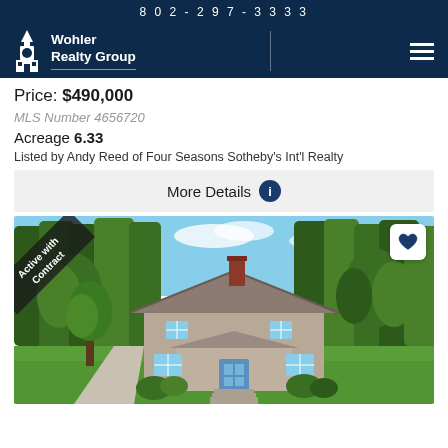802-297-3333
[Figure (logo): Wohler Realty Group logo with church steeple icon and company name]
Price: $490,000
MLS Number 4656720
Acreage 6.33
Listed by Andy Reed of Four Seasons Sotheby's Int'l Realty
More Details
[Figure (photo): Exterior photo of a Cape Cod style house surrounded by tall trees with green lawn, blue front door, brick chimney. Has 'Active with Contract' diagonal banner overlay in top-left corner and a heart/favorite button in top-right corner.]